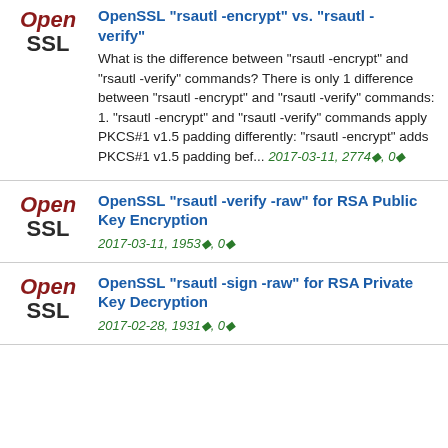OpenSSL "rsautl -encrypt" vs. "rsautl -verify"
What is the difference between "rsautl -encrypt" and "rsautl -verify" commands? There is only 1 difference between "rsautl -encrypt" and "rsautl -verify" commands: 1. "rsautl -encrypt" and "rsautl -verify" commands apply PKCS#1 v1.5 padding differently: "rsautl -encrypt" adds PKCS#1 v1.5 padding bef...
2017-03-11, 2774♦, 0♦
OpenSSL "rsautl -verify -raw" for RSA Public Key Encryption
2017-03-11, 1953♦, 0♦
OpenSSL "rsautl -sign -raw" for RSA Private Key Decryption
2017-02-28, 1931♦, 0♦